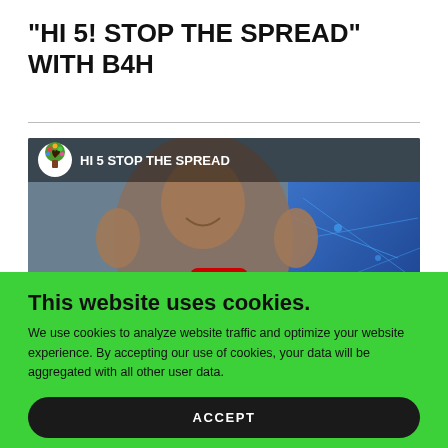"HI 5! STOP THE SPREAD" WITH B4H
[Figure (screenshot): Video thumbnail showing a man holding up both hands with a YouTube play button, titled 'HI 5 STOP THE SPREAD', with a B4H logo circle in the top left]
This website uses cookies.
We use cookies to analyze website traffic and optimize your website experience. By accepting our use of cookies, your data will be aggregated with all other user data.
ACCEPT